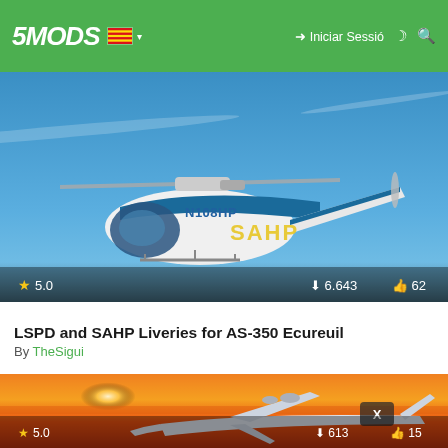5MODS | Iniciar Sessió
[Figure (screenshot): Helicopter with SAHP livery, registration N108HP, blue and white, flying against blue sky. Stats overlay: 5.0 stars, 6.643 downloads, 62 likes.]
LSPD and SAHP Liveries for AS-350 Ecureuil
By TheSigui
[Figure (screenshot): Large cargo aircraft flying at sunset/orange sky. Stats overlay: 5.0 stars, 613 downloads, 15 likes. X badge visible.]